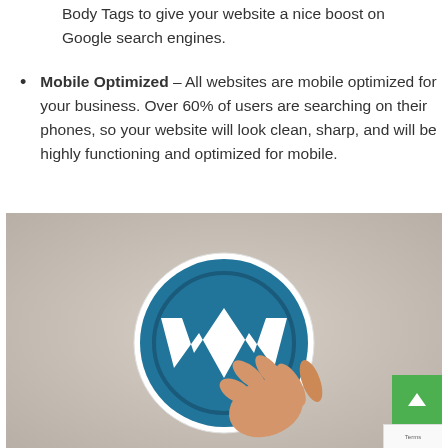Body Tags to give your website a nice boost on Google search engines.
Mobile Optimized – All websites are mobile optimized for your business. Over 60% of users are searching on their phones, so your website will look clean, sharp, and will be highly functioning and optimized for mobile.
[Figure (photo): A hand holding a round WordPress logo disc (blue circle with white W symbol) against a beige/light background. A green scroll-to-top button with an upward arrow is overlaid in the bottom right corner. A partial reCAPTCHA badge is visible in the far bottom right.]